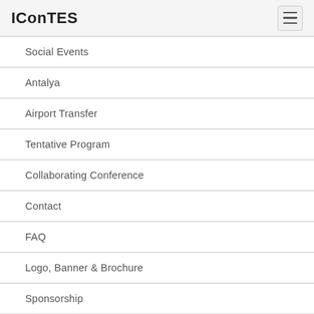IConTES
Social Events
Antalya
Airport Transfer
Tentative Program
Collaborating Conference
Contact
FAQ
Logo, Banner & Brochure
Sponsorship
ICONTES 2017